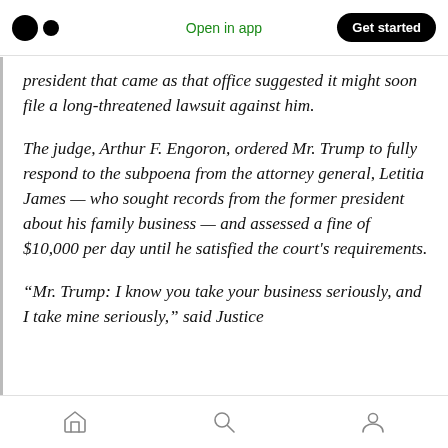Open in app | Get started
president that came as that office suggested it might soon file a long-threatened lawsuit against him.
The judge, Arthur F. Engoron, ordered Mr. Trump to fully respond to the subpoena from the attorney general, Letitia James — who sought records from the former president about his family business — and assessed a fine of $10,000 per day until he satisfied the court's requirements.
“Mr. Trump: I know you take your business seriously, and I take mine seriously,” said Justice
Home | Search | Profile